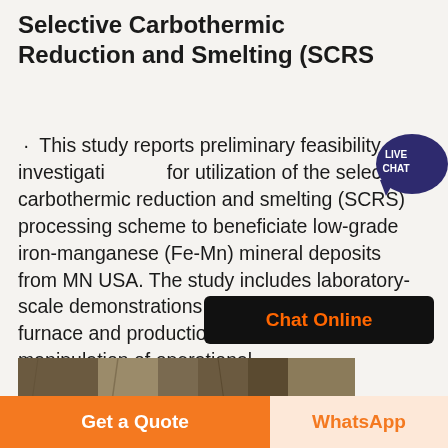Selective Carbothermic Reduction and Smelting (SCRS
· This study reports preliminary feasibility investigations for utilization of the selective carbothermic reduction and smelting (SCRS) processing scheme to beneficiate low-grade iron-manganese (Fe-Mn) mineral deposits from MN USA. The study includes laboratory-scale demonstrations using an induction furnace and production of various products by manipulation of operational
[Figure (photo): Partial photo of rock or mineral ore specimen, brown/grey tones]